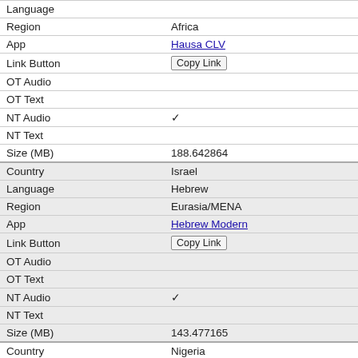| Field | Value |
| --- | --- |
| Language |  |
| Region | Africa |
| App | Hausa CLV |
| Link Button | Copy Link |
| OT Audio |  |
| OT Text |  |
| NT Audio | ✓ |
| NT Text |  |
| Size (MB) | 188.642864 |
| Country | Israel |
| Language | Hebrew |
| Region | Eurasia/MENA |
| App | Hebrew Modern |
| Link Button | Copy Link |
| OT Audio |  |
| OT Text |  |
| NT Audio | ✓ |
| NT Text |  |
| Size (MB) | 143.477165 |
| Country | Nigeria |
| Language | Higgi |
| Region | Africa |
| App | Higgi BLL |